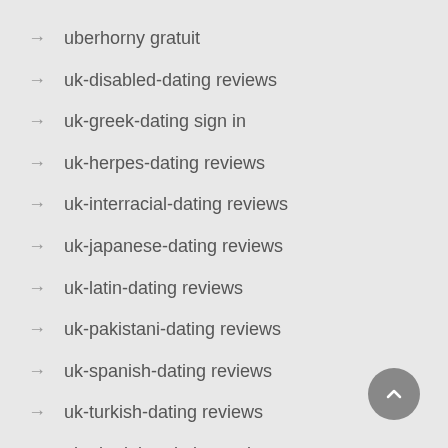uberhorny gratuit
uk-disabled-dating reviews
uk-greek-dating sign in
uk-herpes-dating reviews
uk-interracial-dating reviews
uk-japanese-dating reviews
uk-latin-dating reviews
uk-pakistani-dating reviews
uk-spanish-dating reviews
uk-turkish-dating reviews
uk-ukrainian-dating review
Uncategorized